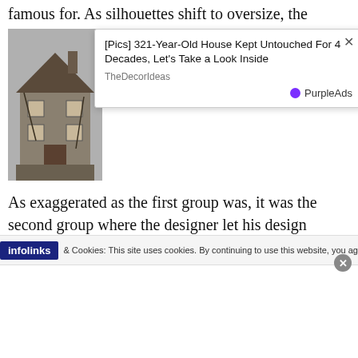famous for. As silhouettes shift to oversize, the desi... desi...
[Figure (screenshot): Advertisement overlay showing a dilapidated old house with title '[Pics] 321-Year-Old House Kept Untouched For 4 Decades, Let's Take a Look Inside' from TheDecorIdeas, branded by PurpleAds]
As exaggerated as the first group was, it was the second group where the designer let his design inhibition rip. A voice over the soundtracked introduced the “toys,” which was where the fantastical looks came to life as the music went from melancholic to a retro festive vibe. A massive crinoline look opened, creating a triangle shape on the model about 10 feet in diameter.
infolinks & Cookies: This site uses cookies. By continuing to use this website, you agree